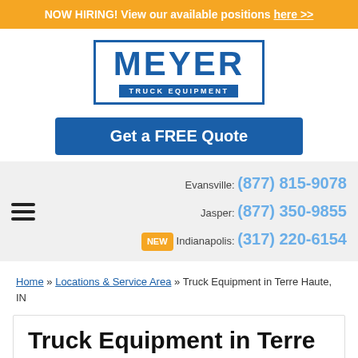NOW HIRING! View our available positions here >>
[Figure (logo): Meyer Truck Equipment logo: blue bordered box with MEYER in large blue letters and TRUCK EQUIPMENT on blue bar below]
Get a FREE Quote
Evansville: (877) 815-9078
Jasper: (877) 350-9855
NEW Indianapolis: (317) 220-6154
Home » Locations & Service Area » Truck Equipment in Terre Haute, IN
Truck Equipment in Terre